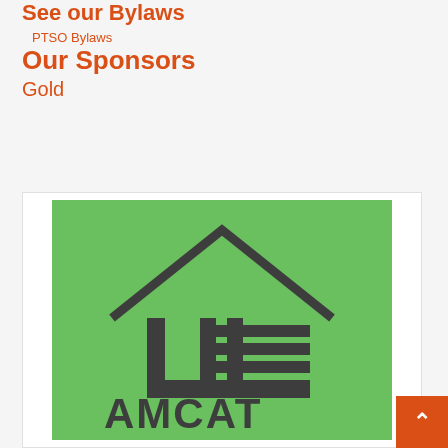See our Bylaws
PTSO Bylaws
Our Sponsors
Gold
[Figure (logo): AMCAT logo on green background, showing a house/building outline with horizontal stripes and the text AMCAT below]